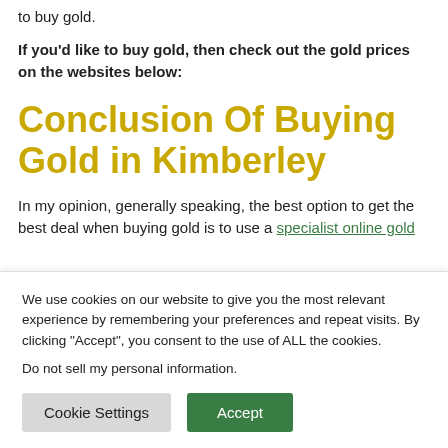to buy gold.
If you'd like to buy gold, then check out the gold prices on the websites below:
Conclusion Of Buying Gold in Kimberley
In my opinion, generally speaking, the best option to get the best deal when buying gold is to use a specialist online gold
We use cookies on our website to give you the most relevant experience by remembering your preferences and repeat visits. By clicking “Accept”, you consent to the use of ALL the cookies.
Do not sell my personal information.